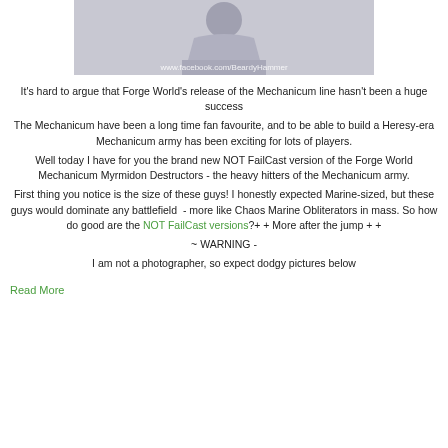[Figure (photo): Grey resin miniature figure (Forge World Mechanicum Myrmidon Destructor) on a beige/sandy surface, with watermark text 'www.facebook.com/BeardyHammer']
It's hard to argue that Forge World's release of the Mechanicum line hasn't been a huge success
The Mechanicum have been a long time fan favourite, and to be able to build a Heresy-era Mechanicum army has been exciting for lots of players.
Well today I have for you the brand new NOT FailCast version of the Forge World Mechanicum Myrmidon Destructors - the heavy hitters of the Mechanicum army.
First thing you notice is the size of these guys! I honestly expected Marine-sized, but these guys would dominate any battlefield - more like Chaos Marine Obliterators in mass. So how do good are the NOT FailCast versions?+ + More after the jump + +
~ WARNING -
I am not a photographer, so expect dodgy pictures below
Read More